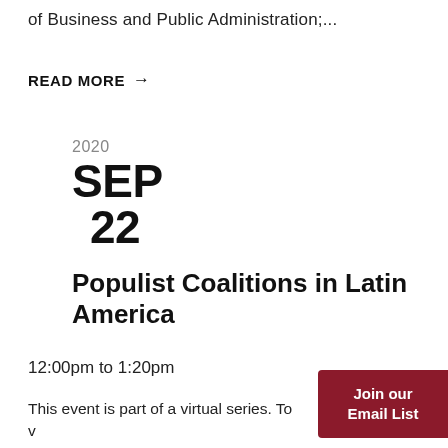of Business and Public Administration;...
READ MORE →
2020
SEP
22
Populist Coalitions in Latin America
12:00pm to 1:20pm
Join our Email List
This event is part of a virtual series. To v recording, click here.